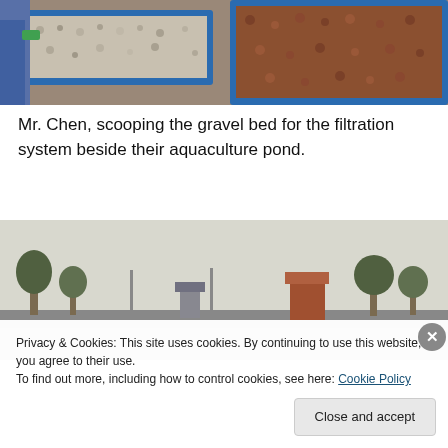[Figure (photo): Person scooping gravel in blue filtration trays beside an aquaculture pond]
Mr. Chen, scooping the gravel bed for the filtration system beside their aquaculture pond.
[Figure (photo): Outdoor rural scene with trees, structures and hazy sky near aquaculture pond]
Privacy & Cookies: This site uses cookies. By continuing to use this website, you agree to their use.
To find out more, including how to control cookies, see here: Cookie Policy
Close and accept